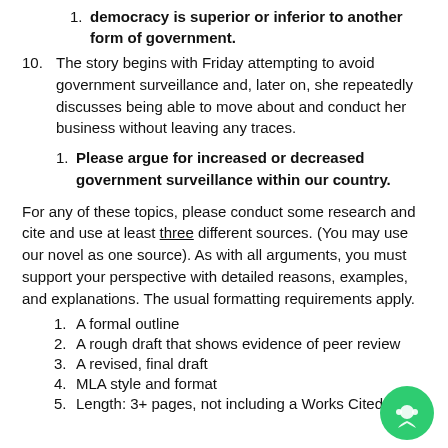democracy is superior or inferior to another form of government.
10. The story begins with Friday attempting to avoid government surveillance and, later on, she repeatedly discusses being able to move about and conduct her business without leaving any traces.
1. Please argue for increased or decreased government surveillance within our country.
For any of these topics, please conduct some research and cite and use at least three different sources. (You may use our novel as one source). As with all arguments, you must support your perspective with detailed reasons, examples, and explanations. The usual formatting requirements apply.
1. A formal outline
2. A rough draft that shows evidence of peer review
3. A revised, final draft
4. MLA style and format
5. Length: 3+ pages, not including a Works Cited page